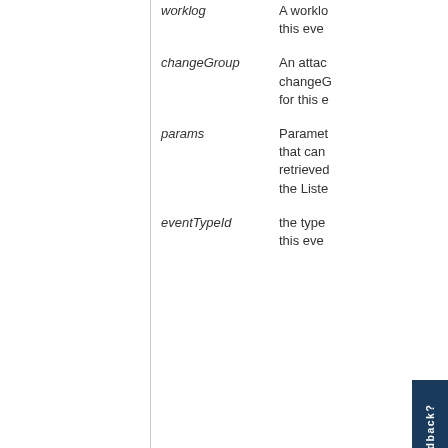worklog — A worklog for this event
changeGroup — An attached changeGroup for this event
params — Parameters that can be retrieved the Liste
eventTypeId — the type of this event
public IssueEvent(Issue issue, ApplicationUser user, Comment comment, Worklog worklog, GenericValue changeGroup, Map params, Long eventTypeId
[Figure (other): Feedback tab button on right side]